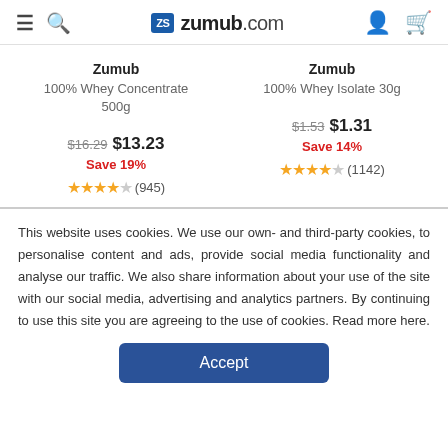zumub.com
Zumub 100% Whey Concentrate 500g $16.29 $13.23 Save 19% ★★★★☆ (945)
Zumub 100% Whey Isolate 30g $1.53 $1.31 Save 14% ★★★★☆ (1142)
This website uses cookies. We use our own- and third-party cookies, to personalise content and ads, provide social media functionality and analyse our traffic. We also share information about your use of the site with our social media, advertising and analytics partners. By continuing to use this site you are agreeing to the use of cookies. Read more here.
Accept